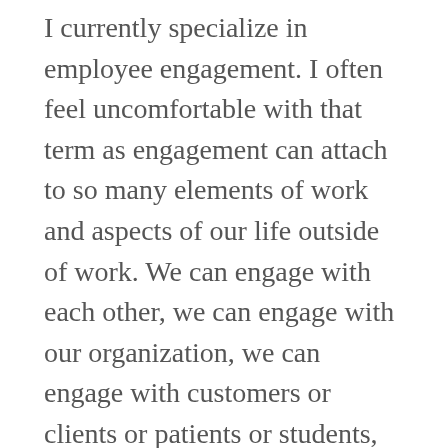I currently specialize in employee engagement. I often feel uncomfortable with that term as engagement can attach to so many elements of work and aspects of our life outside of work. We can engage with each other, we can engage with our organization, we can engage with customers or clients or patients or students, we can engage with the tasks of our work. You get the picture.
Not only are there many faces to engagement there are also many phases. I was reminded of this through Facebook on Father's Day when my daughter posted a